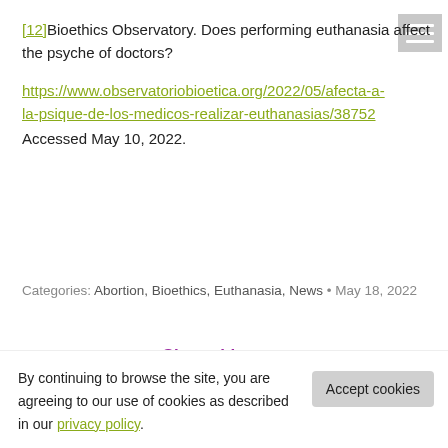[12]Bioethics Observatory. Does performing euthanasia affect the psyche of doctors? https://www.observatoriobioetica.org/2022/05/afecta-a-la-psique-de-los-medicos-realizar-euthanasias/38752. Accessed May 10, 2022.
Categories: Abortion, Bioethics, Euthanasia, News • May 18, 2022
Share this post
By continuing to browse the site, you are agreeing to our use of cookies as described in our privacy policy.